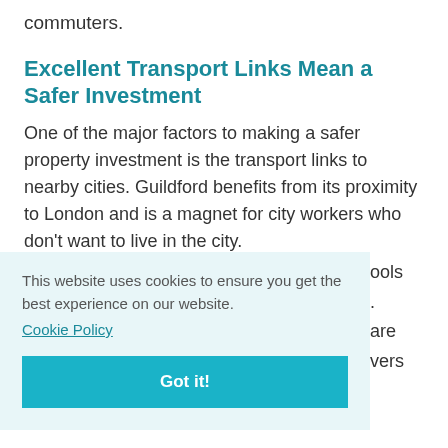commuters.
Excellent Transport Links Mean a Safer Investment
One of the major factors to making a safer property investment is the transport links to nearby cities. Guildford benefits from its proximity to London and is a magnet for city workers who don't want to live in the city.
ools
.
are
vers
This website uses cookies to ensure you get the best experience on our website.
Cookie Policy
Got it!